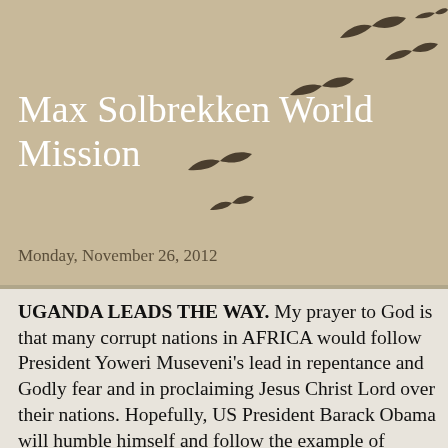[Figure (illustration): Silhouettes of birds in flight against a tan/beige background, scattered across the upper right portion of the header area]
Max Solbrekken World Mission
Monday, November 26, 2012
UGANDA LEADS THE WAY. My prayer to God is that many corrupt nations in AFRICA would follow President Yoweri Museveni's lead in repentance and Godly fear and in proclaiming Jesus Christ Lord over their nations. Hopefully, US President Barack Obama will humble himself and follow the example of President Museveni. In 1994 during our historic Uganda Crusade at Kampala's Maadia Park, the